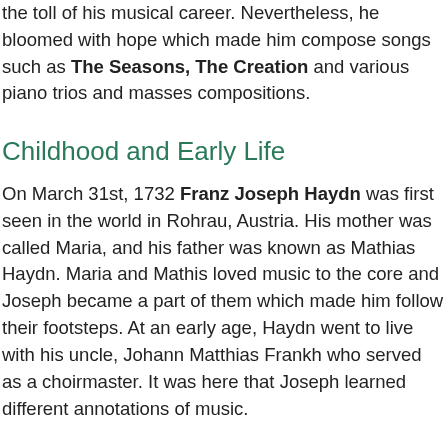the toll of his musical career. Nevertheless, he bloomed with hope which made him compose songs such as The Seasons, The Creation and various piano trios and masses compositions.
Childhood and Early Life
On March 31st, 1732 Franz Joseph Haydn was first seen in the world in Rohrau, Austria. His mother was called Maria, and his father was known as Mathias Haydn. Maria and Mathis loved music to the core and Joseph became a part of them which made him follow their footsteps. At an early age, Haydn went to live with his uncle, Johann Matthias Frankh who served as a choirmaster. It was here that Joseph learned different annotations of music.